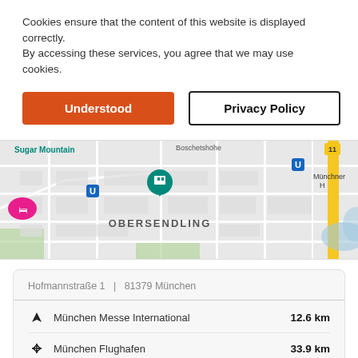Cookies ensure that the content of this website is displayed correctly.
By accessing these services, you agree that we may use cookies.
Understood
Privacy Policy
[Figure (map): Google Maps screenshot showing Obersendling district in Munich, with street map, U-Bahn markers, tram/S-Bahn icons, a teal location pin, a pink hotel icon, and a yellow highway road labeled 11. Text labels include 'Sugar Mountain', 'Boschetshöhe', 'Münchner H', 'OBERSENDLING'.]
Hofmannstraße 1   |   81379 München
München Messe International   12.6 km
München Flughafen   33.9 km